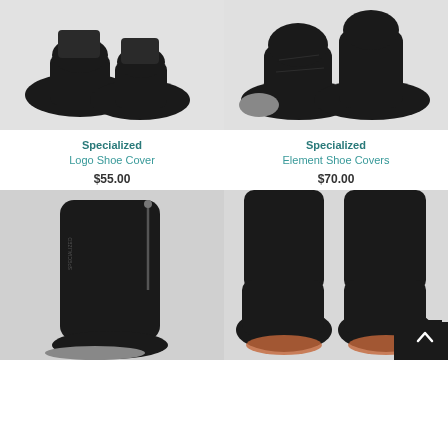[Figure (photo): Black cycling shoe covers on feet, Specialized brand logo visible, light grey background]
Specialized
Logo Shoe Cover
$55.00
[Figure (photo): Black Element cycling shoe covers on feet with grey toe cap, shown side view]
Specialized
Element Shoe Covers
$70.00
[Figure (photo): Tall black cycling bootie/shoe cover with zipper, thick insulated design, grey sole, shown from side]
[Figure (photo): Black cycling shoe covers from front/below angle, showing cleat area on bottom, two feet visible]